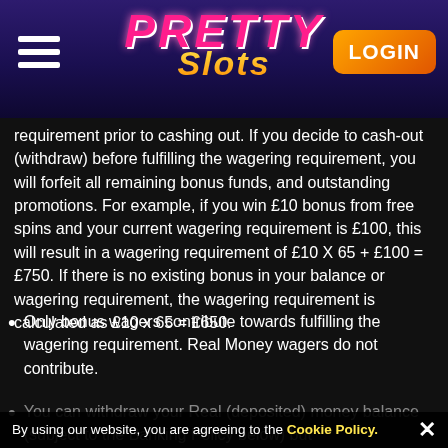[Figure (logo): Pretty Slots casino website header with logo, hamburger menu icon, and LOGIN button]
requirement prior to cashing out. If you decide to cash-out (withdraw) before fulfilling the wagering requirement, you will forfeit all remaining bonus funds, and outstanding promotions. For example, if you win £10 bonus from free spins and your current wagering requirement is £100, this will result in a wagering requirement of £10 X 65 + £100 = £750. If there is no existing bonus in your balance or wagering requirement, the wagering requirement is calculated as £10 x 65 = £650.
Only bonus wagers contribute towards fulfilling the wagering requirement. Real Money wagers do not contribute.
You can withdraw your Real (deposited) money balance (subject to the Banking Policy below) but
By using our website, you are agreeing to the Cookie Policy.